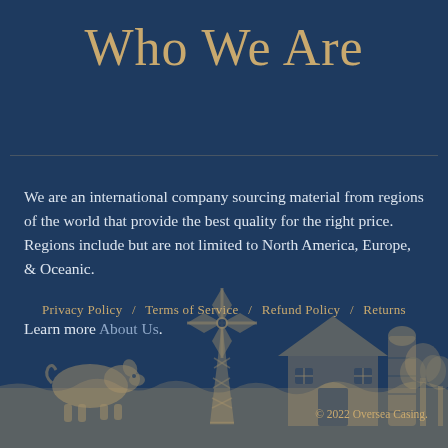Who We Are
We are an international company sourcing material from regions of the world that provide the best quality for the right price. Regions include but are not limited to North America, Europe, & Oceanic.
Learn more About Us.
[Figure (illustration): Farm scene illustration with a pig on the left, windmill, barn, silo, and trees on the right, rendered in tan/gold on dark blue background. Ground texture at the bottom.]
Privacy Policy / Terms of Service / Refund Policy / Returns
© 2022 Oversea Casing.